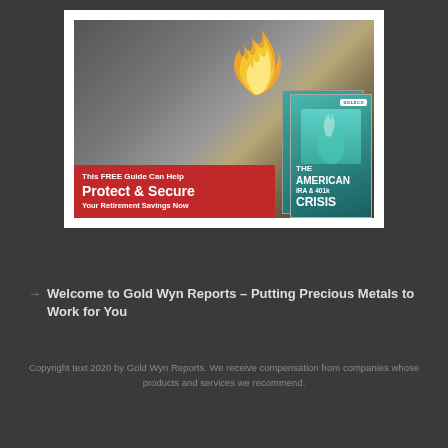[Figure (photo): Advertisement image showing burning hundred-dollar bills with a red banner overlay that reads 'This FREE Guide Can Help Protect & Secure Your Retirement Savings Now' and a book cover for 'The American IRA & 401k Crisis' by Goldco on the right side.]
→ Welcome to Gold Wyn Reports – Putting Precious Metals to Work for You
Copyright text 2020 by Gold Wyn Reports. We receive compensation from companies whose products and services we recommend.